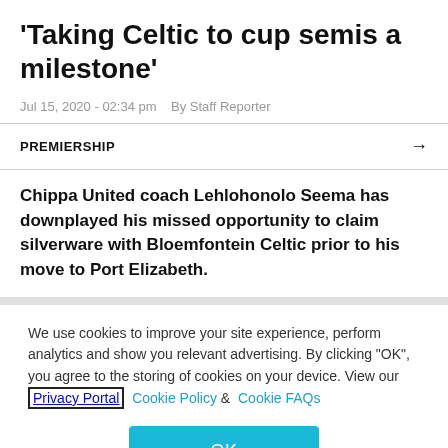'Taking Celtic to cup semis a milestone'
Jul 15, 2020 - 02:34 pm   By Staff Reporter
PREMIERSHIP
Chippa United coach Lehlohonolo Seema has downplayed his missed opportunity to claim silverware with Bloemfontein Celtic prior to his move to Port Elizabeth.
We use cookies to improve your site experience, perform analytics and show you relevant advertising. By clicking "OK", you agree to the storing of cookies on your device. View our Privacy Portal Cookie Policy & Cookie FAQs